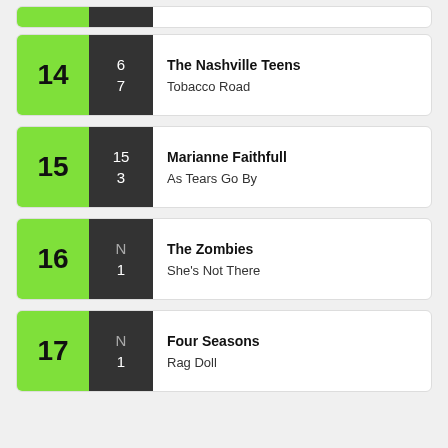14 | 6 / 7 | The Nashville Teens - Tobacco Road
15 | 15 / 3 | Marianne Faithfull - As Tears Go By
16 | N / 1 | The Zombies - She's Not There
17 | N / 1 | Four Seasons - Rag Doll